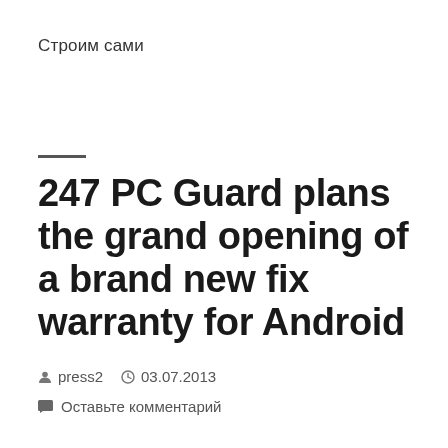Строим сами
247 PC Guard plans the grand opening of a brand new fix warranty for Android
press2   03.07.2013
Оставьте комментарий